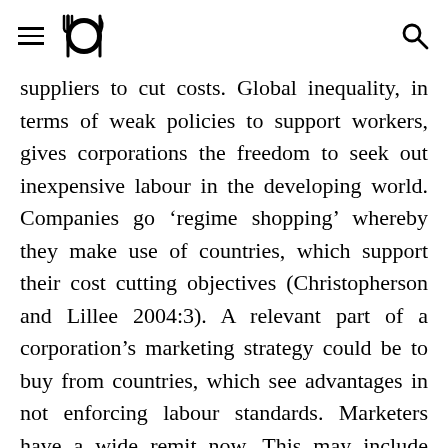[navigation header with hamburger menu, fork-and-plate logo, and search icon]
suppliers to cut costs. Global inequality, in terms of weak policies to support workers, gives corporations the freedom to seek out inexpensive labour in the developing world. Companies go ‘regime shopping’ whereby they make use of countries, which support their cost cutting objectives (Christopherson and Lillee 2004:3). A relevant part of a corporation’s marketing strategy could be to buy from countries, which see advantages in not enforcing labour standards. Marketers have a wide remit now. This may include looking at how labour standards, in developing countries, can be exploited to a company’s strategic cost advantage.